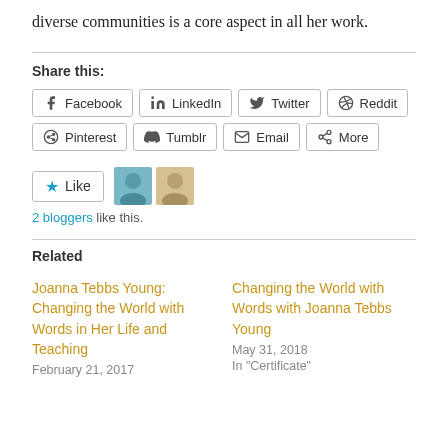diverse communities is a core aspect in all her work.
Share this:
[Figure (infographic): Social sharing buttons: Facebook, LinkedIn, Twitter, Reddit, Pinterest, Tumblr, Email, More]
[Figure (infographic): Like button with star icon, and two blogger avatar images]
2 bloggers like this.
Related
Joanna Tebbs Young: Changing the World with Words in Her Life and Teaching
February 21, 2017
Changing the World with Words with Joanna Tebbs Young
May 31, 2018
In "Certificate"